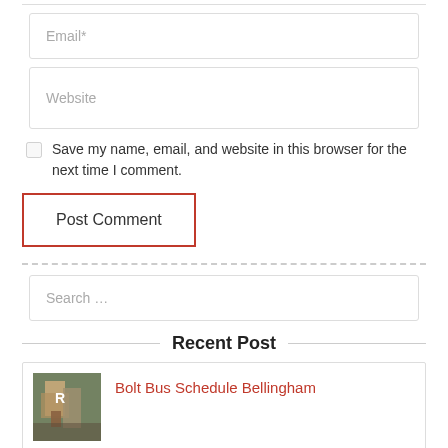Email*
Website
Save my name, email, and website in this browser for the next time I comment.
Post Comment
Search …
Recent Post
Bolt Bus Schedule Bellingham